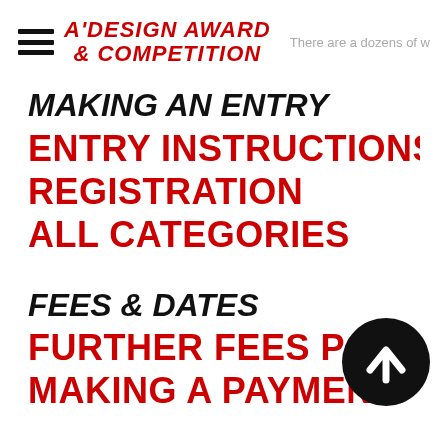A'DESIGN AWARD & COMPETITION — There are a dozens of...
MAKING AN ENTRY
ENTRY INSTRUCTIONS
REGISTRATION
ALL CATEGORIES
FEES & DATES
FURTHER FEES POLICY
MAKING A PAYMENT